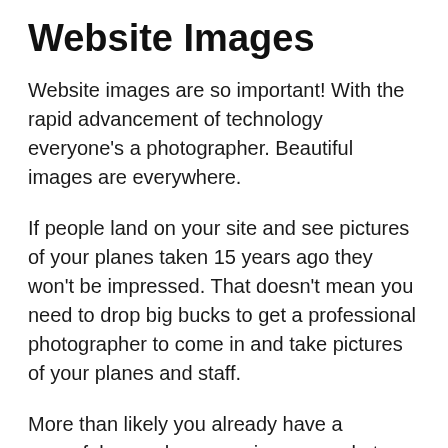Website Images
Website images are so important! With the rapid advancement of technology everyone’s a photographer. Beautiful images are everywhere.
If people land on your site and see pictures of your planes taken 15 years ago they won’t be impressed. That doesn’t mean you need to drop big bucks to get a professional photographer to come in and take pictures of your planes and staff.
More than likely you already have a powerful enough camera in your pocket. You just need to learn a little more about framing your shots and